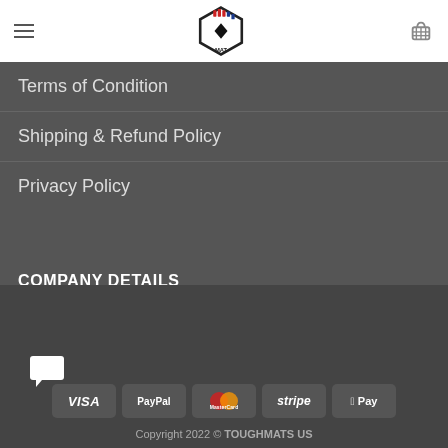TOUGHMATS US — Site header with logo, hamburger menu, and cart icon
Terms of Condition
Shipping & Refund Policy
Privacy Policy
COMPANY DETAILS
Call Support: +13477274738
Company Number: 12876021
Company Address: 917a, Garratt Lane, London, England, SW17 0LT, UK
Email: Support@toughmats.co
Payment icons: VISA, PayPal, MasterCard, stripe, Apple Pay
Copyright 2022 © TOUGHMATS US